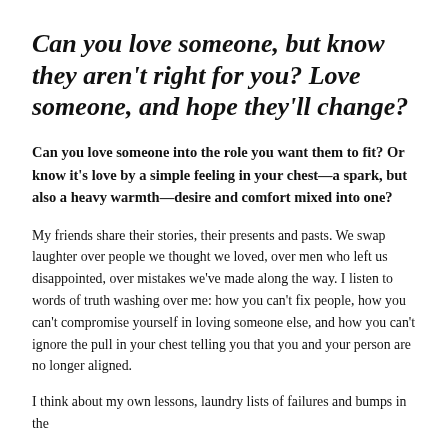Can you love someone, but know they aren't right for you? Love someone, and hope they'll change?
Can you love someone into the role you want them to fit? Or know it's love by a simple feeling in your chest—a spark, but also a heavy warmth—desire and comfort mixed into one?
My friends share their stories, their presents and pasts. We swap laughter over people we thought we loved, over men who left us disappointed, over mistakes we've made along the way. I listen to words of truth washing over me: how you can't fix people, how you can't compromise yourself in loving someone else, and how you can't ignore the pull in your chest telling you that you and your person are no longer aligned.
I think about my own lessons, laundry lists of failures and bumps in the